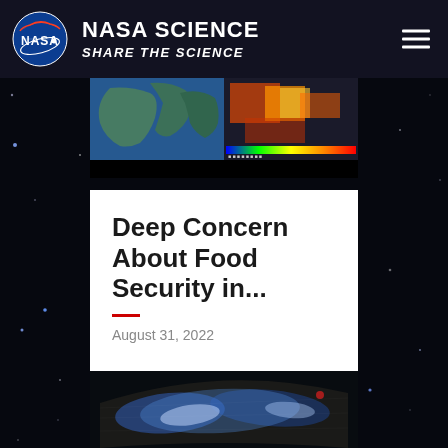NASA SCIENCE – SHARE THE SCIENCE
[Figure (screenshot): NASA Science website screenshot showing a map image strip at the top with geographic and heatmap data]
Deep Concern About Food Security in...
August 31, 2022
[Figure (map): Global map visualization on dark background showing climate/food security data with blue tones and a color scale legend in the upper left]